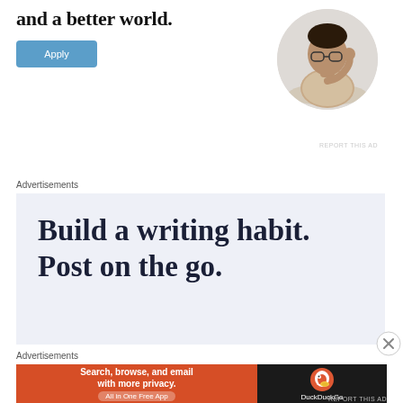and a better world.
[Figure (photo): Circular portrait photo of a man with glasses, wearing a beige t-shirt, sitting at a desk with hand on chin in a thinking pose]
[Figure (other): Blue Apply button]
REPORT THIS AD
Advertisements
[Figure (other): Advertisement with light blue-gray background containing text: Build a writing habit. Post on the go.]
[Figure (other): Close/X button circle]
Advertisements
[Figure (other): DuckDuckGo advertisement banner. Left side: orange background with text 'Search, browse, and email with more privacy. All in One Free App'. Right side: dark background with DuckDuckGo duck logo and DuckDuckGo text.]